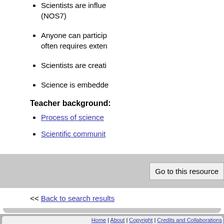Scientists are influenced by (NOS7)
Anyone can participate, often requires extensively
Scientists are creative
Science is embedded
Teacher background:
Process of science
Scientific community
Go to this resource
<< Back to search results
Home | About | Copyright | Credits and Collaborations